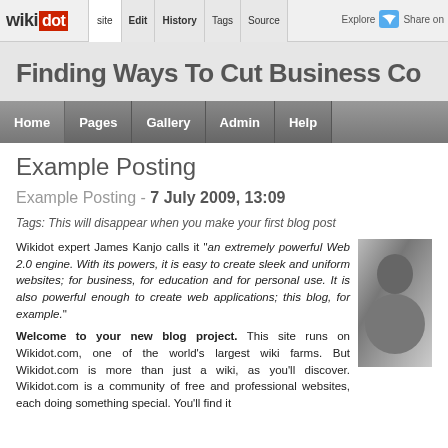wiki[dot] site | Edit | History | Tags | Source | Explore | Share on [Twitter]
Finding Ways To Cut Business Co
Home | Pages | Gallery | Admin | Help
Example Posting
Example Posting - 7 July 2009, 13:09
Tags: This will disappear when you make your first blog post
Wikidot expert James Kanjo calls it "an extremely powerful Web 2.0 engine. With its powers, it is easy to create sleek and uniform websites; for business, for education and for personal use. It is also powerful enough to create web applications; this blog, for example."
[Figure (photo): Black and white photo of a person, partially visible on the right side]
Welcome to your new blog project. This site runs on Wikidot.com, one of the world's largest wiki farms. But Wikidot.com is more than just a wiki, as you'll discover. Wikidot.com is a community of free and professional websites, each doing something special. You'll find it